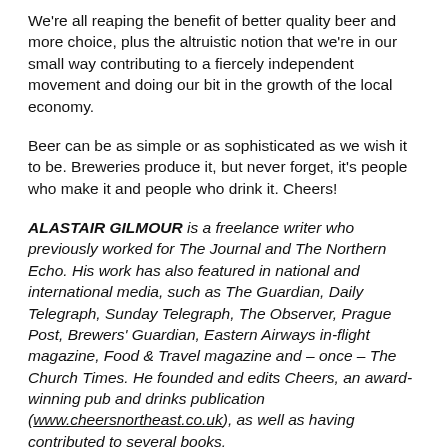We're all reaping the benefit of better quality beer and more choice, plus the altruistic notion that we're in our small way contributing to a fiercely independent movement and doing our bit in the growth of the local economy.
Beer can be as simple or as sophisticated as we wish it to be. Breweries produce it, but never forget, it's people who make it and people who drink it. Cheers!
ALASTAIR GILMOUR is a freelance writer who previously worked for The Journal and The Northern Echo. His work has also featured in national and international media, such as The Guardian, Daily Telegraph, Sunday Telegraph, The Observer, Prague Post, Brewers' Guardian, Eastern Airways in-flight magazine, Food & Travel magazine and – once – The Church Times. He founded and edits Cheers, an award-winning pub and drinks publication (www.cheersnortheast.co.uk), as well as having contributed to several books.